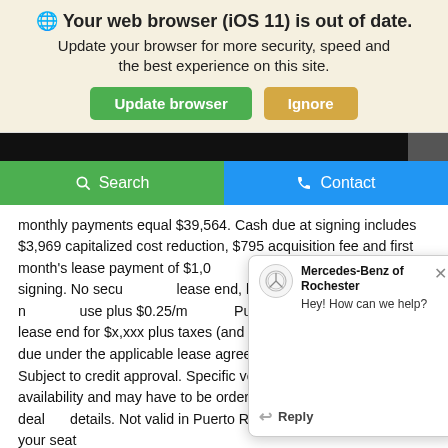[Figure (screenshot): Browser update notification banner with globe icon, bold title 'Your web browser (iOS 11) is out of date.', subtitle text, and two buttons: green 'Update browser' and tan 'Ignore'.]
[Figure (screenshot): Website navigation bar with black background and gray section on right, followed by green Search button and blue Contact button.]
monthly payments equal $39,564. Cash due at signing includes $3,969 capitalized cost reduction, $795 acquisition fee and first month's lease payment of $1,0[...] acquisition fee [...] signing. No secu[...] lease end, lesse[...] fees and taxes n[...] use plus $0.25/m[...] Purchase option[...] and charges due under the applicable lease agreement) in example shown. Subject to credit approval. Specific vehicles are subject to availability and may have to be ordered. See participating deal[...] details. Not valid in Puerto Rico. Please always wear your seat[...]
[Figure (screenshot): Mercedes-Benz of Rochester chat popup with logo, bold name 'Mercedes-Benz of Rochester', message 'Hey! How can we help?', close X button, and Reply button.]